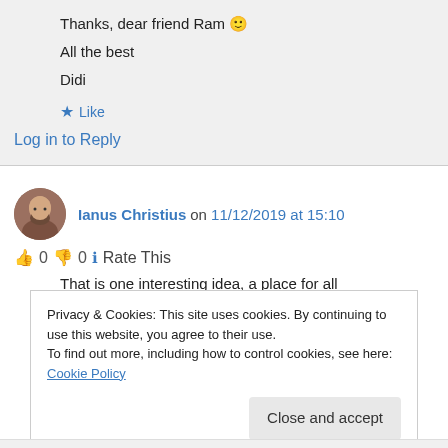Thanks, dear friend Ram 🙂
All the best
Didi
★ Like
Log in to Reply
Ianus Christius on 11/12/2019 at 15:10
👍 0 👎 0 ℹ Rate This
That is one interesting idea, a place for all
Privacy & Cookies: This site uses cookies. By continuing to use this website, you agree to their use.
To find out more, including how to control cookies, see here: Cookie Policy
Close and accept